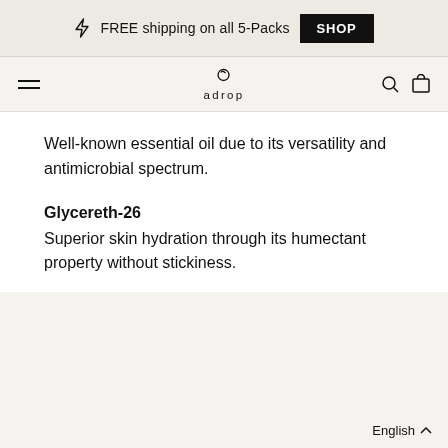⚡ FREE shipping on all 5-Packs  SHOP
adrop
Well-known essential oil due to its versatility and antimicrobial spectrum.
Glycereth-26
Superior skin hydration through its humectant property without stickiness.
English